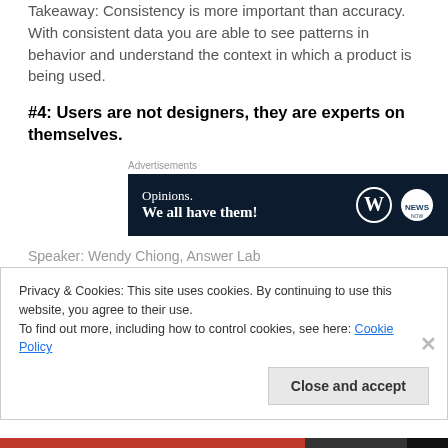Takeaway: Consistency is more important than accuracy. With consistent data you are able to see patterns in behavior and understand the context in which a product is being used.
#4: Users are not designers, they are experts on themselves.
[Figure (screenshot): Advertisement banner with dark navy background. Text reads 'Opinions. We all have them!' with WordPress logo and another circular logo on the right. Label 'Advertisements' appears above.]
Speaker:  Wendy Chiong, Answer Lab
Privacy & Cookies: This site uses cookies. By continuing to use this website, you agree to their use.
To find out more, including how to control cookies, see here: Cookie Policy